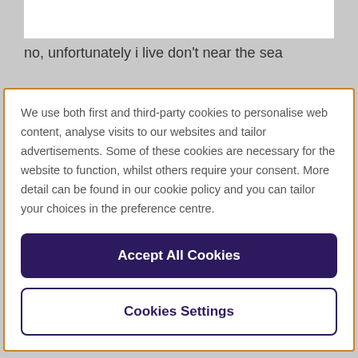no, unfortunately i live don't near the sea
We use both first and third-party cookies to personalise web content, analyse visits to our websites and tailor advertisements. Some of these cookies are necessary for the website to function, whilst others require your consent. More detail can be found in our cookie policy and you can tailor your choices in the preference centre.
Accept All Cookies
Cookies Settings